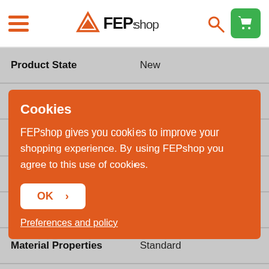FEPshop navigation header with hamburger menu, logo, search icon, and cart button
| Property | Value |
| --- | --- |
| Product State | New |
| Country Of Origin | Taiwan |
| Wavelength (nm) | 405 |
| Material Properties | Standard |
| Industry | Art |
| Material Application | Hold |
Cookies
FEPshop gives you cookies to improve your shopping experience. By using FEPshop you agree to this use of cookies.
OK >
Preferences and policy